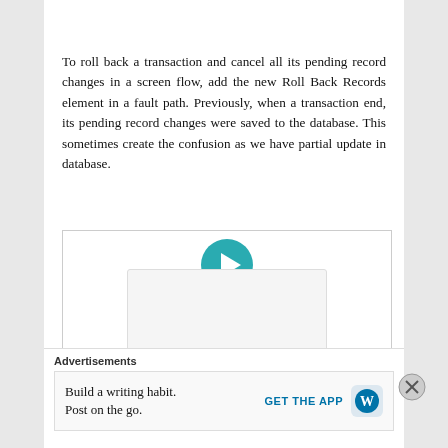To roll back a transaction and cancel all its pending record changes in a screen flow, add the new Roll Back Records element in a fault path. Previously, when a transaction end, its pending record changes were saved to the database. This sometimes create the confusion as we have partial update in database.
[Figure (flowchart): Screen flow diagram showing a Start element with a teal play button icon labeled 'Start / Screen Flow' and a downward arrow below it, inside a bordered box.]
Advertisements
Build a writing habit. Post on the go.    GET THE APP  [WordPress logo]